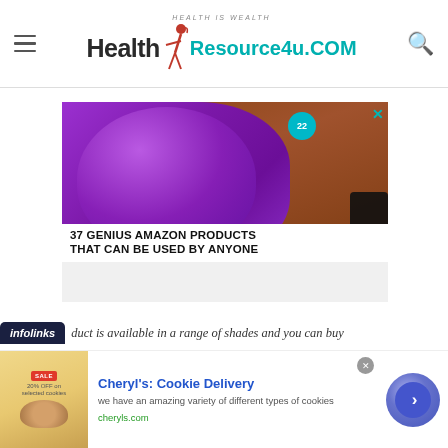HealthResource4u.COM — Health is Wealth
[Figure (screenshot): Advertisement banner: 37 Genius Amazon Products That Can Be Used By Anyone — showing purple headphones on wooden table background]
duct is available in a range of shades and you can buy
[Figure (screenshot): Infolinks inline ad overlay with Cheryl's Cookie Delivery advertisement — we have an amazing variety of different types of cookies — cheryls.com]